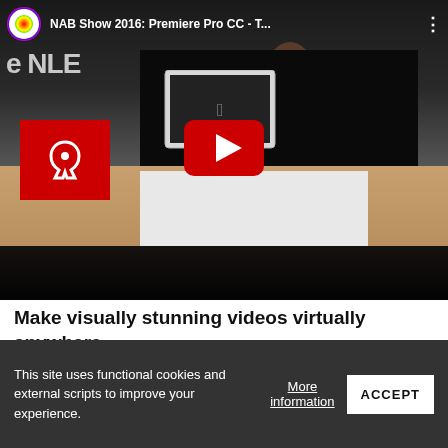[Figure (screenshot): YouTube video thumbnail showing NAB Show 2016: Premiere Pro CC presentation. A person with long hair stands at a desk with an iMac and monitors. Adobe Creative Cloud logo visible. Red YouTube play button in center. Title bar shows 'NAB Show 2016: Premiere Pro CC - T...' with Adobe CC rainbow logo.]
Make visually stunning videos virtually anywhere –
This site uses functional cookies and external scripts to improve your experience.
More information
ACCEPT